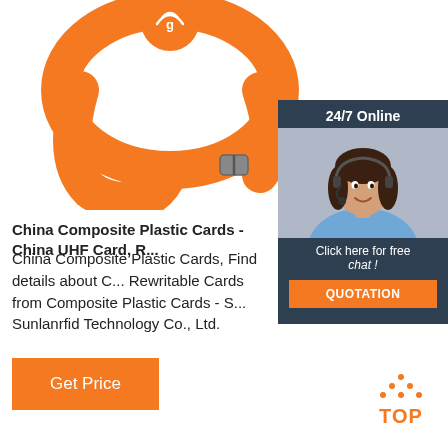[Figure (photo): Orange silicone RFID/NFC wristband with buckle closure and circular NFC tag on top]
[Figure (infographic): 24/7 Online chat widget showing a female customer service representative wearing a headset, with 'Click here for free chat!' text and an orange QUOTATION button]
China Composite Plastic Cards - China UHF Card, R...
China Composite Plastic Cards, Find details about C... Rewritable Cards from Composite Plastic Cards - S... Sunlanrfid Technology Co., Ltd.
[Figure (other): Orange 'Get Price' button]
[Figure (other): Orange TOP button with dotted triangle arrow pointing up]